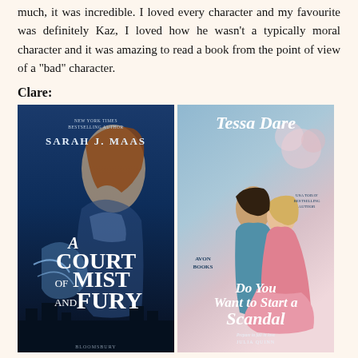much, it was incredible. I loved every character and my favourite was definitely Kaz, I loved how he wasn't a typically moral character and it was amazing to read a book from the point of view of a "bad" character.
Clare:
[Figure (photo): Two book covers side by side. Left: 'A Court of Mist and Fury' by Sarah J. Maas (blue fantasy cover with a woman figure). Right: 'Do You Want to Start a Scandal' by Tessa Dare (romance cover with a couple embracing).]